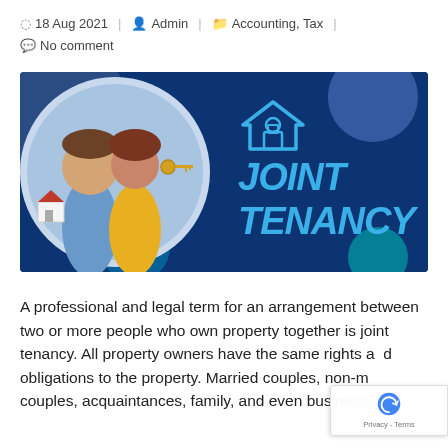18 Aug 2021  Admin  Accounting, Tax  No comment
[Figure (illustration): Promotional banner for 'Joint Tenancy' showing a smiling couple holding a house model and keys, with a house icon and bold blue text reading 'JOINT TENANCY' on a dark blue background with decorative circles.]
A professional and legal term for an arrangement between two or more people who own property together is joint tenancy. All property owners have the same rights and obligations to the property. Married couples, non-married couples, acquaintances, family, and even business